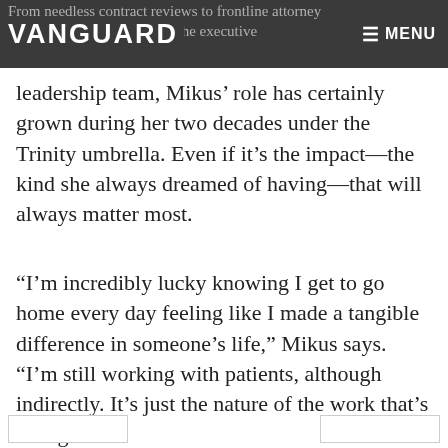VANGUARD  ≡ MENU
From needless contract reviews to frontline attorney to a full-fledged member of the executive
leadership team, Mikus' role has certainly grown during her two decades under the Trinity umbrella. Even if it's the impact—the kind she always dreamed of having—that will always matter most.
“I’m incredibly lucky knowing I get to go home every day feeling like I made a tangible difference in someone’s life,” Mikus says. “I’m still working with patients, although indirectly. It’s just the nature of the work that’s changed.”